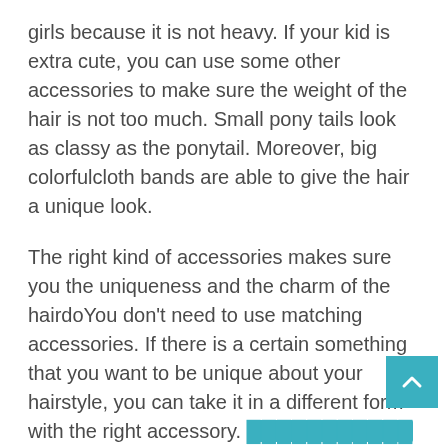girls because it is not heavy. If your kid is extra cute, you can use some other accessories to make sure the weight of the hair is not too much. Small pony tails look as classy as the ponytail. Moreover, big colorfulcloth bands are able to give the hair a unique look.
The right kind of accessories makes sure you the uniqueness and the charm of the hairdoYou don't need to use matching accessories. If there is a certain something that you want to be unique about your hairstyle, you can take it in a different form with the right accessory. [highlighted text] For instance, if your kid has the habit of collecting extra socks from her parents, you can use a plastic base and some colorful yarn to make a